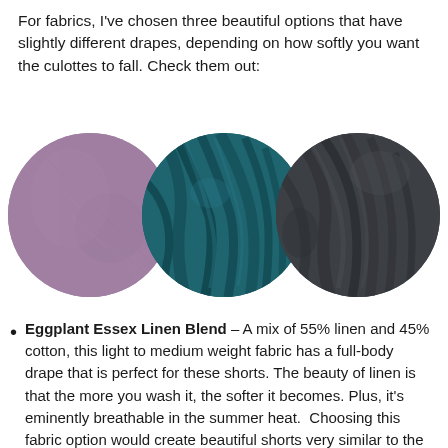For fabrics, I've chosen three beautiful options that have slightly different drapes, depending on how softly you want the culottes to fall. Check them out:
[Figure (photo): Three circular fabric swatches side by side: left is eggplant/mauve linen blend, center is teal/dark green crepe fabric with draping folds, right is dark grey/charcoal smooth fabric]
Eggplant Essex Linen Blend – A mix of 55% linen and 45% cotton, this light to medium weight fabric has a full-body drape that is perfect for these shorts. The beauty of linen is that the more you wash it, the softer it becomes. Plus, it's eminently breathable in the summer heat. Choosing this fabric option would create beautiful shorts very similar to the ones featured by Megan Nielsen on her site, but